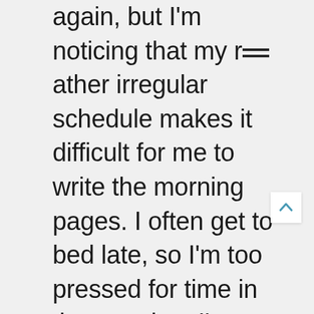again, but I'm noticing that my rather irregular schedule makes it difficult for me to write the morning pages. I often get to bed late, so I'm too pressed for time in the morning. I'm commuting a lot, which makes routines difficult, and sometimes I forget my papers I'm writing on. (Sounds like a lame excuse – I know.)

It's another aspect of this workshop that I'm taking a lot from this time. The so-called artist